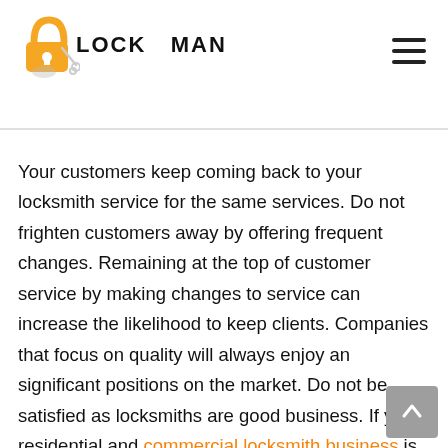LOCK MAN
Your customers keep coming back to your locksmith service for the same services. Do not frighten customers away by offering frequent changes. Remaining at the top of customer service by making changes to service can increase the likelihood to keep clients. Companies that focus on quality will always enjoy an significant positions on the market. Do not be satisfied as locksmiths are good business. If your residential and commercial locksmith business is flourishing Be more vigilant and committed. Finding employees to work for you can be a challenge so it's important to be careful. It's your responsibility to ensure they're educated and ready to perform various tasks. The base of any profitable locksmith business is